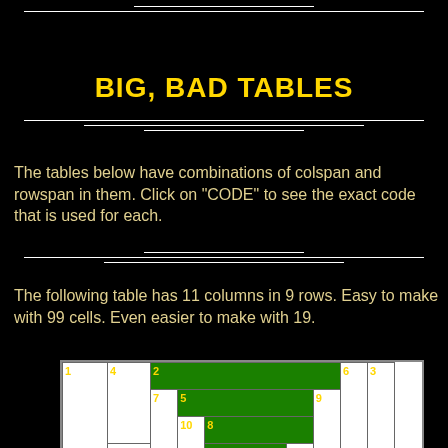BIG, BAD TABLES
The tables below have combinations of colspan and rowspan in them. Click on "CODE" to see the exact code that is used for each.
The following table has 11 columns in 9 rows. Easy to make with 99 cells. Even easier to make with 19.
|  | 2 (colspan across many) |  |
|  | 5 (colspan) |  |
|  | 8 (colspan) |  |
| 1 | 4 | 7 | 10 | 11 (colspan) | 12 | 9 | 6 | 3 |